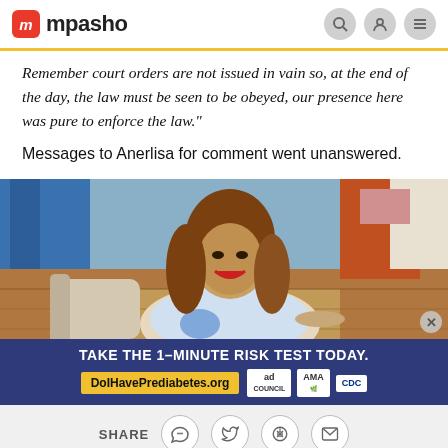mpasho
Remember court orders are not issued in vain so, at the end of the day, the law must be seen to be obeyed, our presence here was pure to enforce the law."
Messages to Anerlisa for comment went unanswered.
[Figure (photo): A smiling woman with long brown hair sitting in a room with a blue curtain and wooden floor in the background.]
[Figure (infographic): Advertisement banner: TAKE THE 1-MINUTE RISK TEST TODAY. DolHavePrediabetes.org — ad council, AMA, CDC logos.]